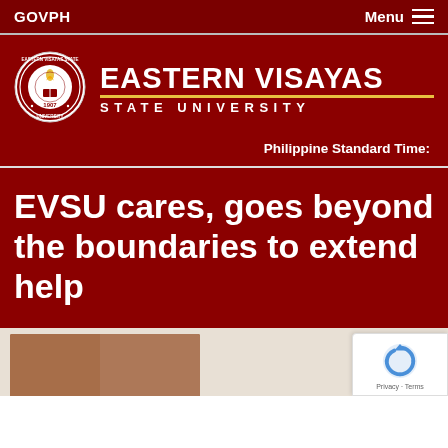GOVPH
Menu
[Figure (logo): Eastern Visayas State University circular seal/logo with text '1907' and an eagle/torch design]
EASTERN VISAYAS STATE UNIVERSITY
Philippine Standard Time:
EVSU cares, goes beyond the boundaries to extend help
[Figure (photo): Bottom strip showing partial photo of people and a reCAPTCHA badge]